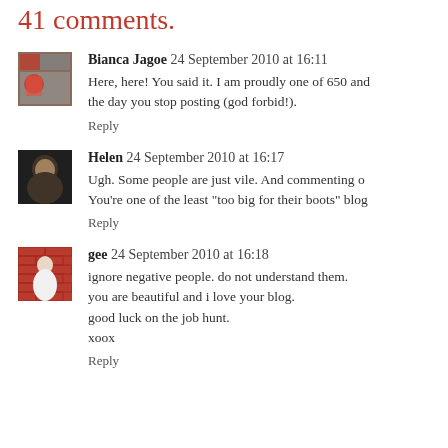41 comments.
Bianca Jagoe 24 September 2010 at 16:11
Here, here! You said it. I am proudly one of 650 and the day you stop posting (god forbid!).
Reply
Helen 24 September 2010 at 16:17
Ugh. Some people are just vile. And commenting o... You're one of the least "too big for their boots" blog...
Reply
gee 24 September 2010 at 16:18
ignore negative people. do not understand them.
you are beautiful and i love your blog.
good luck on the job hunt.
xoox
Reply